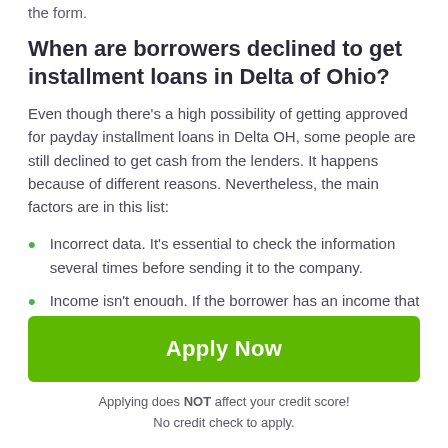the form.
When are borrowers declined to get installment loans in Delta of Ohio?
Even though there's a high possibility of getting approved for payday installment loans in Delta OH, some people are still declined to get cash from the lenders. It happens because of different reasons. Nevertheless, the main factors are in this list:
Incorrect data. It's essential to check the information several times before sending it to the company.
Income isn't enough. If the borrower has an income that
[Figure (other): Scroll-to-top button: dark grey square with white upward arrow icon]
Apply Now
Applying does NOT affect your credit score!
No credit check to apply.